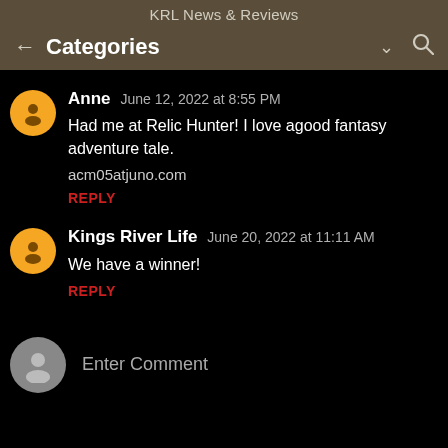KRL News & Reviews
Categories
Anne   June 12, 2022 at 8:55 PM
Had me at Relic Hunter! I love agood fantasy adventure tale.

acm05atjuno.com

REPLY
Kings River Life   June 20, 2022 at 11:11 AM
We have a winner!

REPLY
Enter Comment